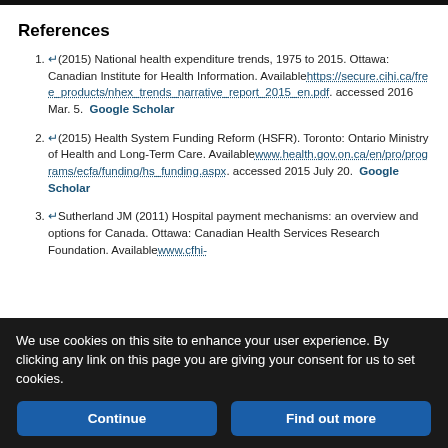References
(2015) National health expenditure trends, 1975 to 2015. Ottawa: Canadian Institute for Health Information. Available https://secure.cihi.ca/free_products/nhex_trends_narrative_report_2015_en.pdf. accessed 2016 Mar. 5. Google Scholar
(2015) Health System Funding Reform (HSFR). Toronto: Ontario Ministry of Health and Long-Term Care. Available www.health.gov.on.ca/en/pro/programs/ecfa/funding/hs_funding.aspx. accessed 2015 July 20. Google Scholar
Sutherland JM (2011) Hospital payment mechanisms: an overview and options for Canada. Ottawa: Canadian Health Services Research Foundation. Available www.cfhi-
We use cookies on this site to enhance your user experience. By clicking any link on this page you are giving your consent for us to set cookies.